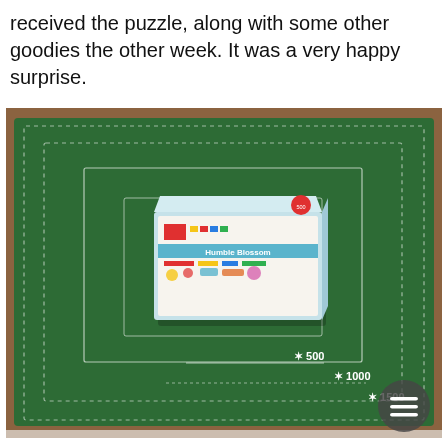received the puzzle, along with some other goodies the other week. It was a very happy surprise.
[Figure (photo): A green felt puzzle mat laid flat on a wooden table, with concentric white-outlined rectangles indicating puzzle size guidelines (500, 1000, 1500 piece sizes). A puzzle box (Humble Blossom brand, light blue with colorful imagery) sits on the mat. The mat has white text labels: '500', '1000', and partially visible '1500' in the lower right area.]